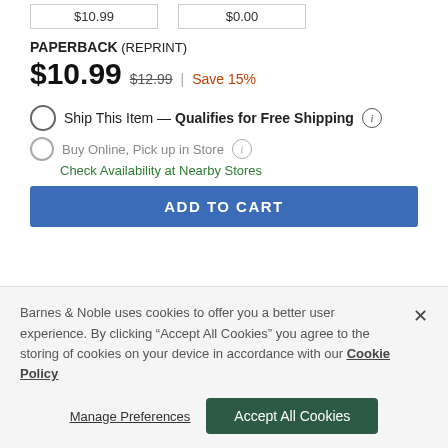| Price1 | Price2 |
| --- | --- |
| $10.99 | $0.00 |
PAPERBACK (REPRINT)
$10.99  $12.99  |  Save 15%
Ship This Item — Qualifies for Free Shipping
Buy Online, Pick up in Store
Check Availability at Nearby Stores
ADD TO CART
Barnes & Noble uses cookies to offer you a better user experience. By clicking "Accept All Cookies" you agree to the storing of cookies on your device in accordance with our Cookie Policy
Manage Preferences
Accept All Cookies